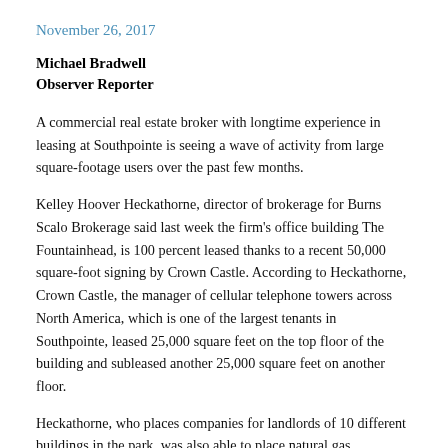November 26, 2017
Michael Bradwell
Observer Reporter
A commercial real estate broker with longtime experience in leasing at Southpointe is seeing a wave of activity from large square-footage users over the past few months.
Kelley Hoover Heckathorne, director of brokerage for Burns Scalo Brokerage said last week the firm’s office building The Fountainhead, is 100 percent leased thanks to a recent 50,000 square-foot signing by Crown Castle. According to Heckathorne, Crown Castle, the manager of cellular telephone towers across North America, which is one of the largest tenants in Southpointe, leased 25,000 square feet on the top floor of the building and subleased another 25,000 square feet on another floor.
Heckathorne, who places companies for landlords of 10 different buildings in the park, was also able to place natural gas exploration and production leader EQT in 30,000 square feet at 400 Woodcliff Drive in Southpointe.